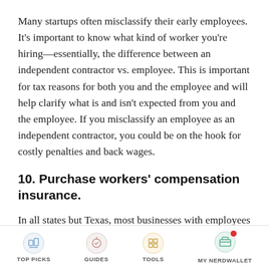Many startups often misclassify their early employees. It's important to know what kind of worker you're hiring—essentially, the difference between an independent contractor vs. employee. This is important for tax reasons for both you and the employee and will help clarify what is and isn't expected from you and the employee. If you misclassify an employee as an independent contractor, you could be on the hook for costly penalties and back wages.
10. Purchase workers' compensation insurance.
In all states but Texas, most businesses with employees are legally required to purchase workers' compensation insurance. Coverage should begin
TOP PICKS  GUIDES  TOOLS  MY NERDWALLET